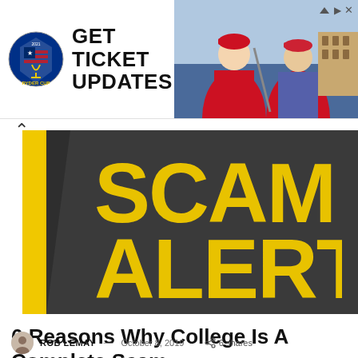[Figure (photo): Ryder Cup advertisement banner with logo on left showing 'GET TICKET UPDATES' text and golf players photo on the right]
[Figure (photo): Close-up photo of a dark surface with large yellow text reading 'SCAM ALERT']
6 Reasons Why College Is A Complete Scam
ROB LEMAY — October 8, 2019 · 6 shares